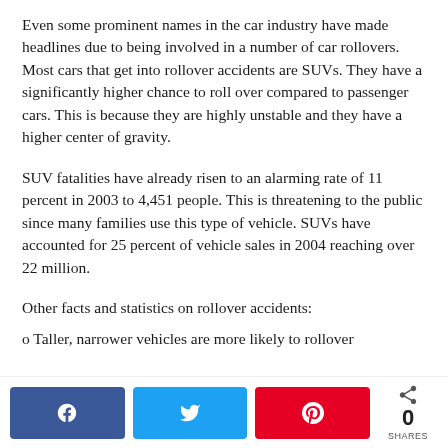Even some prominent names in the car industry have made headlines due to being involved in a number of car rollovers. Most cars that get into rollover accidents are SUVs. They have a significantly higher chance to roll over compared to passenger cars. This is because they are highly unstable and they have a higher center of gravity.
SUV fatalities have already risen to an alarming rate of 11 percent in 2003 to 4,451 people. This is threatening to the public since many families use this type of vehicle. SUVs have accounted for 25 percent of vehicle sales in 2004 reaching over 22 million.
Other facts and statistics on rollover accidents:
o Taller, narrower vehicles are more likely to rollover